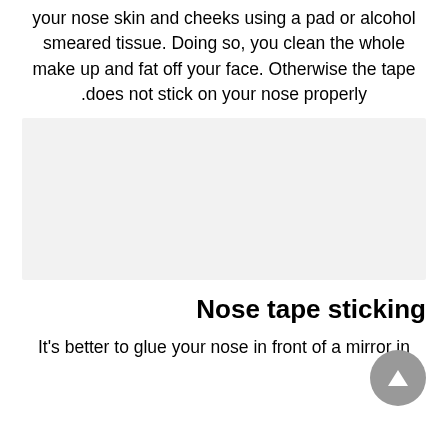your nose skin and cheeks using a pad or alcohol smeared tissue. Doing so, you clean the whole make up and fat off your face. Otherwise the tape does not stick on your nose properly.
[Figure (other): Light gray rectangular placeholder image]
Nose tape sticking
It's better to glue your nose in front of a mirror in